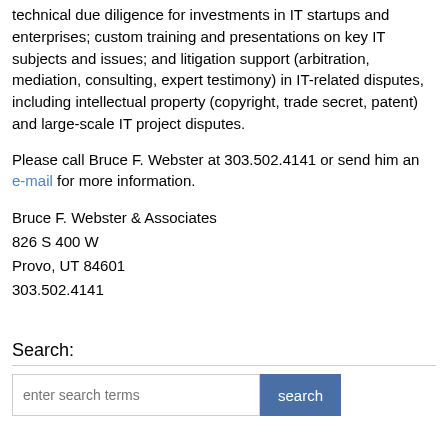technical due diligence for investments in IT startups and enterprises; custom training and presentations on key IT subjects and issues; and litigation support (arbitration, mediation, consulting, expert testimony) in IT-related disputes, including intellectual property (copyright, trade secret, patent) and large-scale IT project disputes.
Please call Bruce F. Webster at 303.502.4141 or send him an e-mail for more information.
Bruce F. Webster & Associates
826 S 400 W
Provo, UT 84601
303.502.4141
Search: